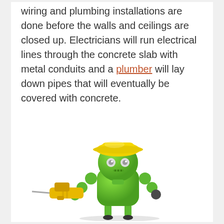wiring and plumbing installations are done before the walls and ceilings are closed up. Electricians will run electrical lines through the concrete slab with metal conduits and a plumber will lay down pipes that will eventually be covered with concrete.
[Figure (illustration): A green robot character wearing a yellow hard hat, holding a power drill in its left hand and its right hand raised to its head. The robot has a cylindrical green body with two round eyes and small feet.]